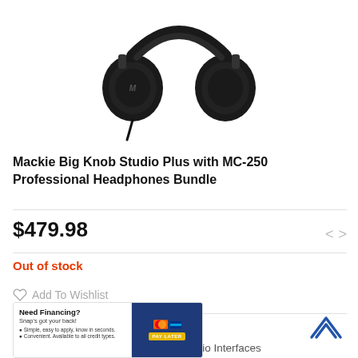[Figure (photo): Black over-ear studio headphones (Mackie MC-250) photographed against white background, viewed from front-left angle showing earcup with logo.]
Mackie Big Knob Studio Plus with MC-250 Professional Headphones Bundle
$479.98
Out of stock
Add To Wishlist
SKU: BIGKNOBPLUSMC250
Categories: Special Bundles, USB Audio Interfaces
[Figure (screenshot): Partial screenshot of a financing banner reading 'Need Financing? Snap's got your back!' with bullet points and a dark blue payment panel on the right.]